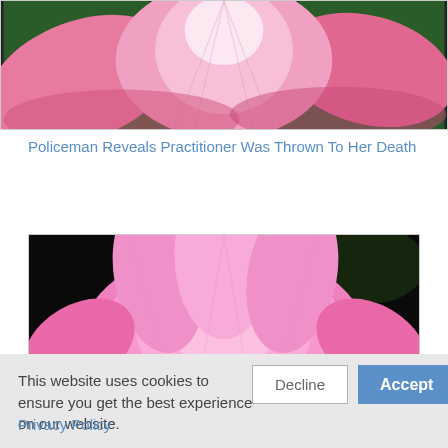[Figure (photo): Close-up of a pink lotus flower with green background, showing upper petals, top portion of image cropped]
Policeman Reveals Practitioner Was Thrown To Her Death
[Figure (photo): Close-up of a pink lotus flower with yellow center stamens against a dark black background]
This website uses cookies to ensure you get the best experience on our website.
Decline
Accept
Privacy Policy